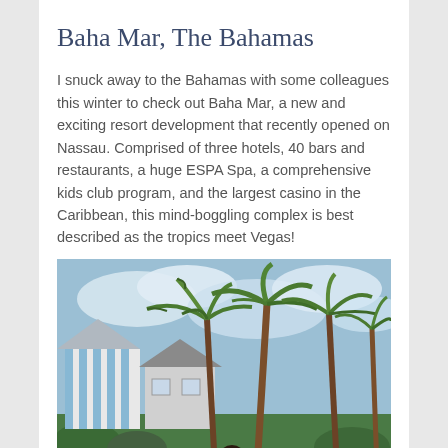Baha Mar, The Bahamas
I snuck away to the Bahamas with some colleagues this winter to check out Baha Mar, a new and exciting resort development that recently opened on Nassau. Comprised of three hotels, 40 bars and restaurants, a huge ESPA Spa, a comprehensive kids club program, and the largest casino in the Caribbean, this mind-boggling complex is best described as the tropics meet Vegas!
[Figure (photo): Outdoor tropical scene at Baha Mar resort in the Bahamas: colorful striped beach houses/cottages on the left, palm trees, cloudy blue sky, and a person visible in the lower center foreground.]